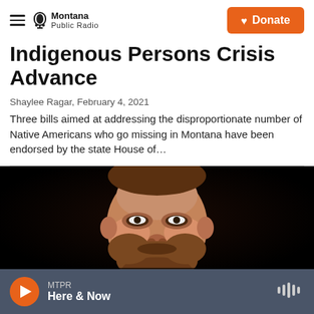Montana Public Radio | Donate
Indigenous Persons Crisis Advance
Shaylee Ragar, February 4, 2021
Three bills aimed at addressing the disproportionate number of Native Americans who go missing in Montana have been endorsed by the state House of…
[Figure (photo): Portrait photo of a man with a beard, smiling, against a dark background, wearing a suit]
MTPR Here & Now